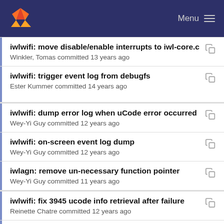GitLab — Menu
iwlwifi: move disable/enable interrupts to iwl-core.c
Winkler, Tomas committed 13 years ago
iwlwifi: trigger event log from debugfs
Ester Kummer committed 14 years ago
iwlwifi: dump error log when uCode error occurred
Wey-Yi Guy committed 12 years ago
iwlwifi: on-screen event log dump
Wey-Yi Guy committed 12 years ago
iwlagn: remove un-necessary function pointer
Wey-Yi Guy committed 11 years ago
iwlwifi: fix 3945 ucode info retrieval after failure
Reinette Chatre committed 12 years ago
iwlwifi: initial contextification
Johannes Berg committed 11 years ago